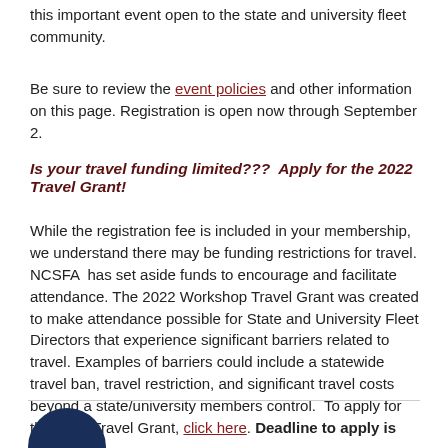this important event open to the state and university fleet community.
Be sure to review the event policies and other information on this page. Registration is open now through September 2.
Is your travel funding limited???  Apply for the 2022 Travel Grant!
While the registration fee is included in your membership, we understand there may be funding restrictions for travel. NCSFA  has set aside funds to encourage and facilitate attendance. The 2022 Workshop Travel Grant was created to make attendance possible for State and University Fleet Directors that experience significant barriers related to travel. Examples of barriers could include a statewide travel ban, travel restriction, and significant travel costs beyond a state/university members control.  To apply for the 2022 Travel Grant, click here. Deadline to apply is July 22.
[Figure (logo): Dark navy blue circular logo/emblem partially visible at bottom left]